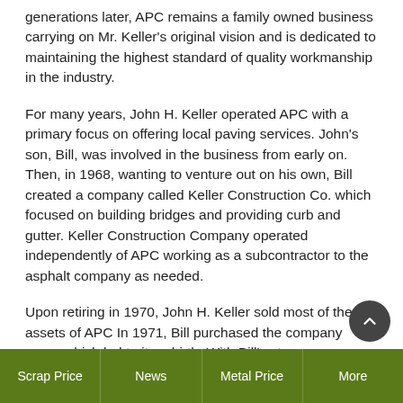generations later, APC remains a family owned business carrying on Mr. Keller's original vision and is dedicated to maintaining the highest standard of quality workmanship in the industry.
For many years, John H. Keller operated APC with a primary focus on offering local paving services. John's son, Bill, was involved in the business from early on. Then, in 1968, wanting to venture out on his own, Bill created a company called Keller Construction Co. which focused on building bridges and providing curb and gutter. Keller Construction Company operated independently of APC working as a subcontractor to the asphalt company as needed.
Upon retiring in 1970, John H. Keller sold most of the assets of APC In 1971, Bill purchased the company name which led to its rebirth. With Bill's strong
Scrap Price | News | Metal Price | More